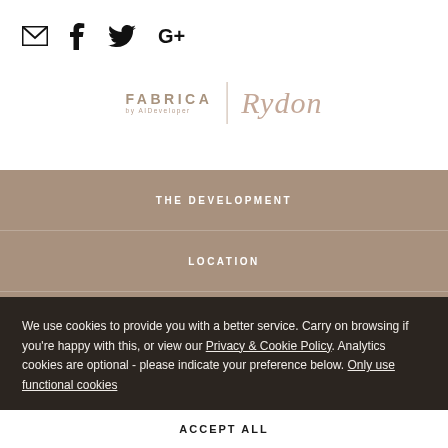[Figure (other): Social media icons: email envelope, Facebook f, Twitter bird, Google Plus G+]
[Figure (logo): FABRICA by AIDeveloper | Rydon logos side by side with vertical divider]
THE DEVELOPMENT
LOCATION
PRICES & AVAILABILITY
BLOG
We use cookies to provide you with a better service. Carry on browsing if you're happy with this, or view our Privacy & Cookie Policy. Analytics cookies are optional - please indicate your preference below. Only use functional cookies
ACCEPT ALL